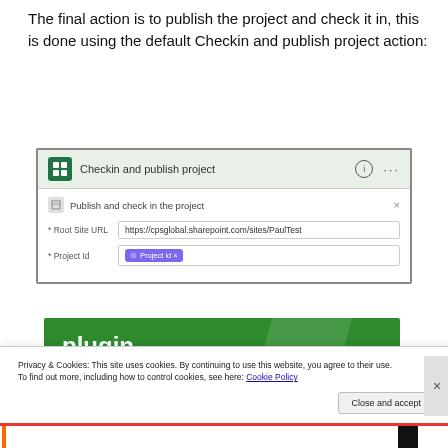The final action is to publish the project and check it in, this is done using the default Checkin and publish project action:
[Figure (screenshot): Screenshot of 'Checkin and publish project' action dialog with fields for Root Site URL (https://cpsglobal.sharepoint.com/sites/PaulTest) and Project Id (Project id x tag).]
[Figure (screenshot): Green plugin banner showing 'plugin' text and a white box with 'Back up your site' in green text.]
Privacy & Cookies: This site uses cookies. By continuing to use this website, you agree to their use.
To find out more, including how to control cookies, see here: Cookie Policy
Close and accept